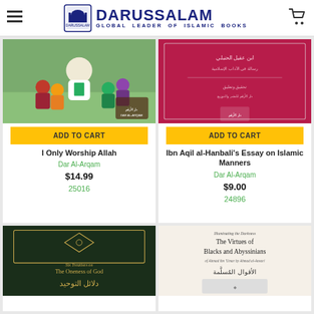DARUSSALAM — GLOBAL LEADER OF ISLAMIC BOOKS
[Figure (photo): Book cover: I Only Worship Allah — children sitting around a teacher]
ADD TO CART
I Only Worship Allah
Dar Al-Arqam
$14.99
25016
[Figure (photo): Book cover: Ibn Aqil al-Hanbali's Essay on Islamic Manners — dark red/maroon cover with Arabic text]
ADD TO CART
Ibn Aqil al-Hanbali's Essay on Islamic Manners
Dar Al-Arqam
$9.00
24896
[Figure (photo): Book cover: The Oneness of God — dark green cover with gold Arabic calligraphy]
[Figure (photo): Book cover: The Virtues of Blacks and Abyssinians — cream/white cover with title text]